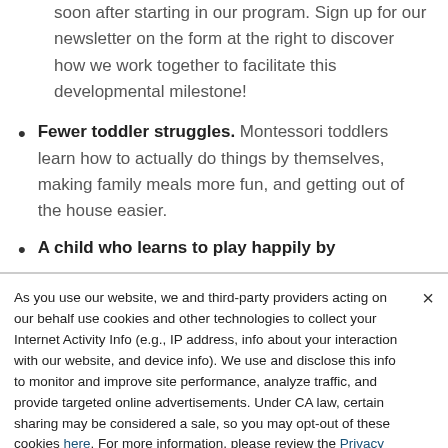soon after starting in our program. Sign up for our newsletter on the form at the right to discover how we work together to facilitate this developmental milestone!
Fewer toddler struggles. Montessori toddlers learn how to actually do things by themselves, making family meals more fun, and getting out of the house easier.
A child who learns to play happily by
As you use our website, we and third-party providers acting on our behalf use cookies and other technologies to collect your Internet Activity Info (e.g., IP address, info about your interaction with our website, and device info). We use and disclose this info to monitor and improve site performance, analyze traffic, and provide targeted online advertisements. Under CA law, certain sharing may be considered a sale, so you may opt-out of these cookies here. For more information, please review the Privacy and Cookie Notice and Privacy Notice for California Residents.